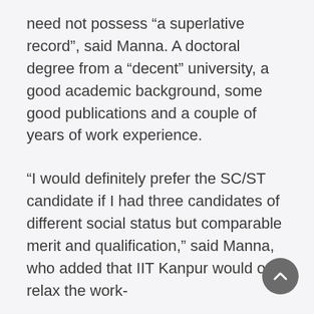need not possess “a superlative record”, said Manna. A doctoral degree from a “decent” university, a good academic background, some good publications and a couple of years of work experience.
“I would definitely prefer the SC/ST candidate if I had three candidates of different social status but comparable merit and qualification,” said Manna, who added that IIT Kanpur would only relax the work-